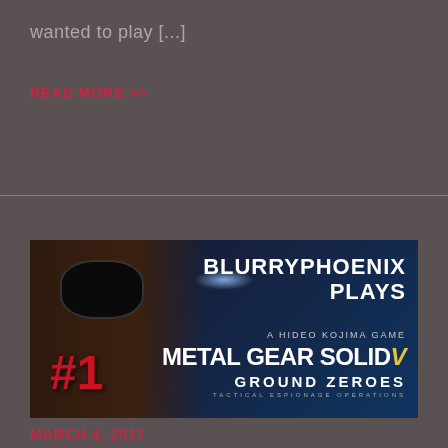wanted to play [...]
READ MORE >>
[Figure (screenshot): BlurryPhoenix Plays - Metal Gear Solid V Ground Zeroes #1 thumbnail showing Snake with eyepatch, episode #1 label, channel name BLURRYPHOENIX PLAYS, subtitle A HIDEO KOJIMA GAME, METAL GEAR SOLID V GROUND ZEROES TACTICAL ESPIONAGE OPERATIONS]
MARCH 4, 2017